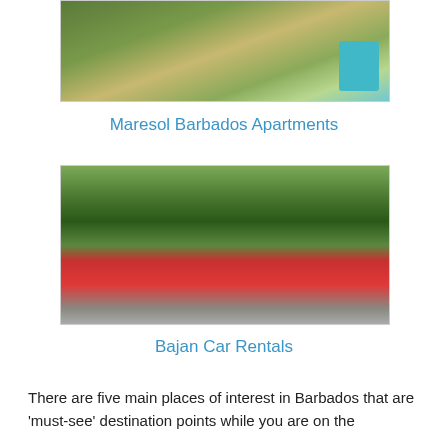[Figure (photo): Partial photo of outdoor garden/patio area at Maresol Barbados Apartments with green lawn and teal chairs]
Maresol Barbados Apartments
[Figure (photo): Photo of four people standing in front of a red car (Kia) with trees in the background — Bajan Car Rentals]
Bajan Car Rentals
There are five main places of interest in Barbados that are 'must-see' destination points while you are on the